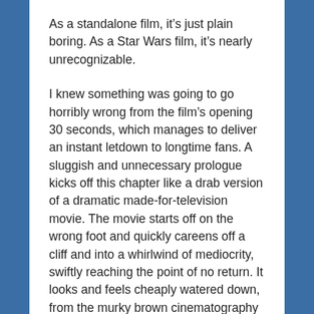As a standalone film, it's just plain boring. As a Star Wars film, it's nearly unrecognizable.
I knew something was going to go horribly wrong from the film's opening 30 seconds, which manages to deliver an instant letdown to longtime fans. A sluggish and unnecessary prologue kicks off this chapter like a drab version of a dramatic made-for-television movie. The movie starts off on the wrong foot and quickly careens off a cliff and into a whirlwind of mediocrity, swiftly reaching the point of no return. It looks and feels cheaply watered down, from the murky brown cinematography and the inferior CGI of actors' faces to the abysmal, ill-fitting musical score by Michael Giacchino (the